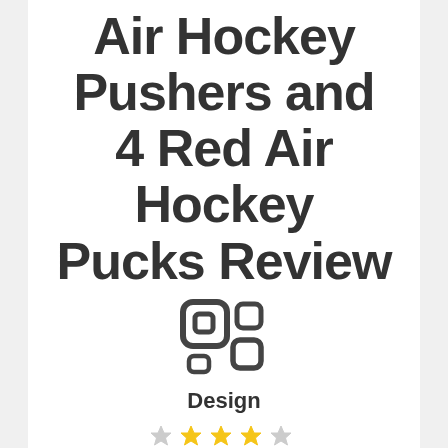Air Hockey Pushers and 4 Red Air Hockey Pucks Review
[Figure (logo): QR code / design icon — two overlapping rounded square outlines forming a stylized logo]
Design
[Figure (other): Star rating icons — partially visible stars at bottom of page]